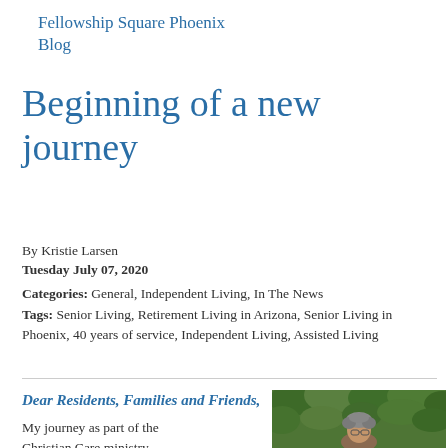Fellowship Square Phoenix Blog
Beginning of a new journey
By Kristie Larsen
Tuesday July 07, 2020
Categories: General, Independent Living, In The News
Tags: Senior Living, Retirement Living in Arizona, Senior Living in Phoenix, 40 years of service, Independent Living, Assisted Living
Dear Residents, Families and Friends,
My journey as part of the Christian Care ministry
[Figure (photo): Portrait photo of a person with curly gray hair and glasses, outdoors against green foliage background]